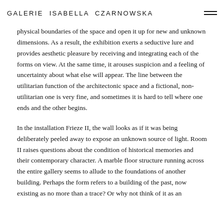GALERIE ISABELLA CZARNOWSKA
physical boundaries of the space and open it up for new and unknown dimensions. As a result, the exhibition exerts a seductive lure and provides aesthetic pleasure by receiving and integrating each of the forms on view. At the same time, it arouses suspicion and a feeling of uncertainty about what else will appear. The line between the utilitarian function of the architectonic space and a fictional, non-utilitarian one is very fine, and sometimes it is hard to tell where one ends and the other begins.
In the installation Frieze II, the wall looks as if it was being deliberately peeled away to expose an unknown source of light. Room II raises questions about the condition of historical memories and their contemporary character. A marble floor structure running across the entire gallery seems to allude to the foundations of another building. Perhaps the form refers to a building of the past, now existing as no more than a trace? Or why not think of it as an